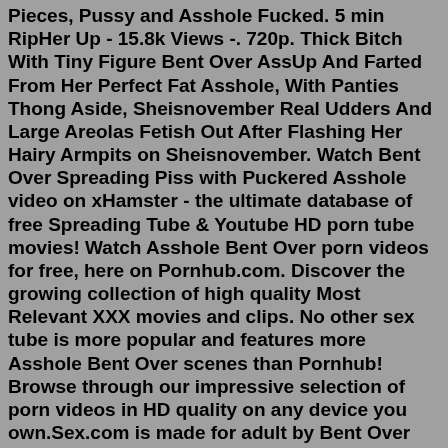Pieces, Pussy and Asshole Fucked. 5 min RipHer Up - 15.8k Views -. 720p. Thick Bitch With Tiny Figure Bent Over AssUp And Farted From Her Perfect Fat Asshole, With Panties Thong Aside, Sheisnovember Real Udders And Large Areolas Fetish Out After Flashing Her Hairy Armpits on Sheisnovember. Watch Bent Over Spreading Piss with Puckered Asshole video on xHamster - the ultimate database of free Spreading Tube & Youtube HD porn tube movies! Watch Asshole Bent Over porn videos for free, here on Pornhub.com. Discover the growing collection of high quality Most Relevant XXX movies and clips. No other sex tube is more popular and features more Asshole Bent Over scenes than Pornhub! Browse through our impressive selection of porn videos in HD quality on any device you own.Sex.com is made for adult by Bent Over Thong Ass porn lover like you. View Bent Over Thong Ass Pics and every kind of Bent Over Thong Ass sex you could want - and it will always be free! We can assure you that nobody has more variety of porn content